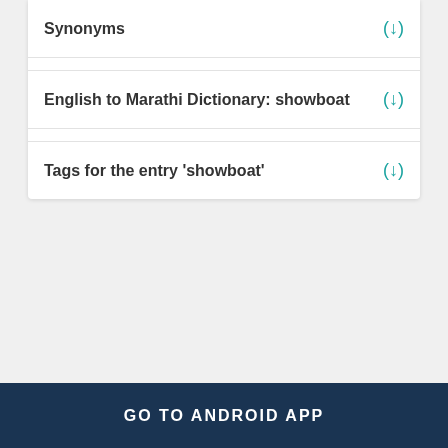Synonyms
English to Marathi Dictionary: showboat
Tags for the entry 'showboat'
GO TO ANDROID APP